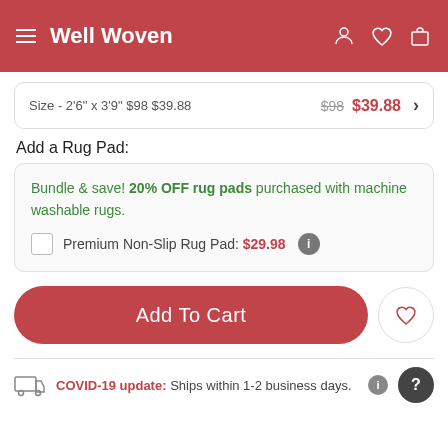Well Woven
Size - 2'6" x 3'9" $98 $39.88 | $98  $39.88
Add a Rug Pad:
Bundle & save! 20% OFF rug pads purchased with machine washable rugs.
Premium Non-Slip Rug Pad: $29.98
Add To Cart
COVID-19 update: Ships within 1-2 business days.